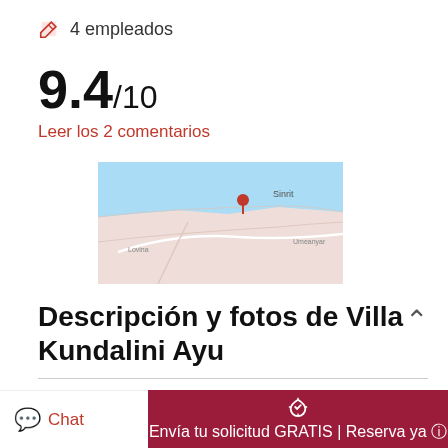4 empleados
9.4/10
Leer los 2 comentarios
[Figure (map): Map showing location near Umeanyar beach, northern Bali, near Lovina]
Descripción y fotos de Villa Kundalini Ayu
A one of a kind beachfront tropical home on Umeanyar beach just west of Lovina in northern Bali, Villa Kundalini Ayu is stunning, resplendent, and authentic. The expansive gardens with meandering paths, lush flora, and blossoming flowers lead to a small gate adjoined to the black sand
Chat | Envía tu solicitud GRATIS | Reserva ya